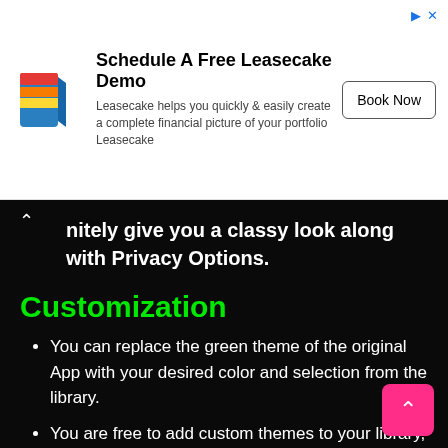[Figure (other): Advertisement banner for Leasecake with logo, title 'Schedule A Free Leasecake Demo', description text, and 'Book Now' button]
nitely give you a classy look along with Privacy Options.
Customization
You can replace the green theme of the original App with your desired color and selection from the library.
You are free to add custom themes to your library, which has the capacity to accept thousands of themes.
You can personalize all icons of the App by changing colors and icon graphics.